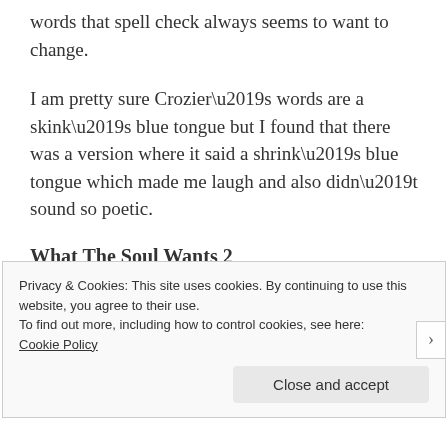words that spell check always seems to want to change.
I am pretty sure Crozier’s words are a skink’s blue tongue but I found that there was a version where it said a shrink’s blue tongue which made me laugh and also didn’t sound so poetic.
What The Soul Wants 2
-
Privacy & Cookies: This site uses cookies. By continuing to use this website, you agree to their use.
To find out more, including how to control cookies, see here: Cookie Policy
Close and accept